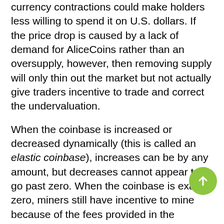currency contractions could make holders less willing to spend it on U.S. dollars. If the price drop is caused by a lack of demand for AliceCoins rather than an oversupply, however, then removing supply will only thin out the market but not actually give traders incentive to trade and correct the undervaluation.
When the coinbase is increased or decreased dynamically (this is called an elastic coinbase), increases can be by any amount, but decreases cannot appear to go past zero. When the coinbase is exactly zero, miners still have incentive to mine because of the fees provided in the transactions. In fact, this is how Bitcoin will eventually (projected to happen in 2140) function once all BTC is created (how well it will work is debatable1).
Could the coinbase go negative? Since miners are rewarded the sum of the coinbase and the transaction fees, a coinbase can indeed be moderately negative the transaction fees are greater than the negative coinbase. Under this deployment, users are effectively having their transaction fees go to support the...